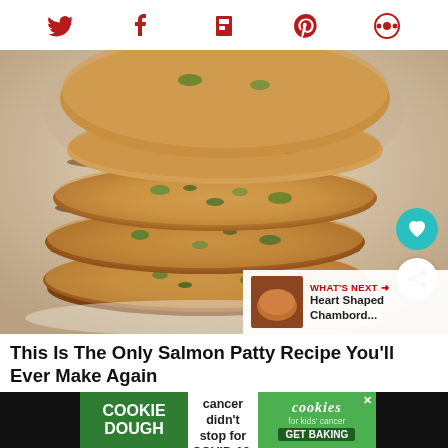Social media sharing icons: Twitter, Facebook, Flipboard, Pinterest, Camera
[Figure (photo): Stack of salmon patties/cakes with green herbs visible, on a white plate, food photography]
This Is The Only Salmon Patty Recipe You'll Ever Make Again
[Figure (infographic): Advertisement banner: Cookie Dough - Childhood cancer didn't stop for COVID-19. cookies for kids cancer - GET BAKING]